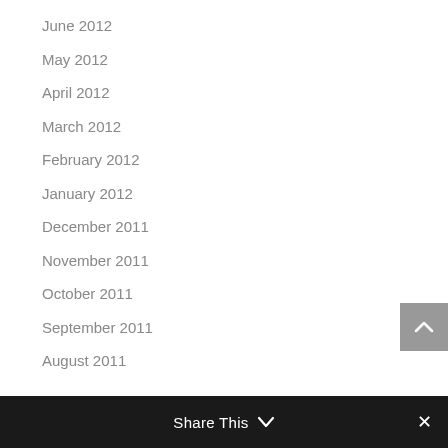June 2012
May 2012
April 2012
March 2012
February 2012
January 2012
December 2011
November 2011
October 2011
September 2011
August 2011
Share This ∨  ✕